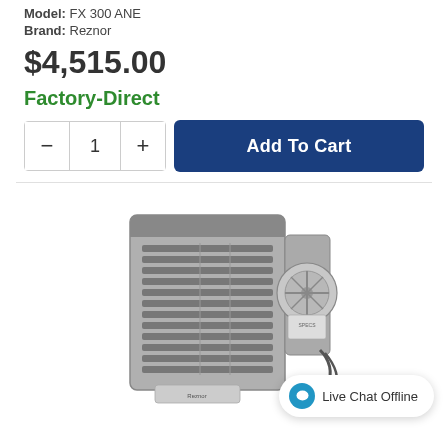Model: FX 300 ANE
Brand: Reznor
$4,515.00
Factory-Direct
[Figure (screenshot): Add to cart widget with quantity selector showing minus button, quantity 1, plus button, and a dark blue 'Add To Cart' button]
[Figure (photo): Grayscale product photo of a Reznor unit heater FX 300 ANE, showing a large rectangular metal cabinet with louvered vents and a fan assembly on the side]